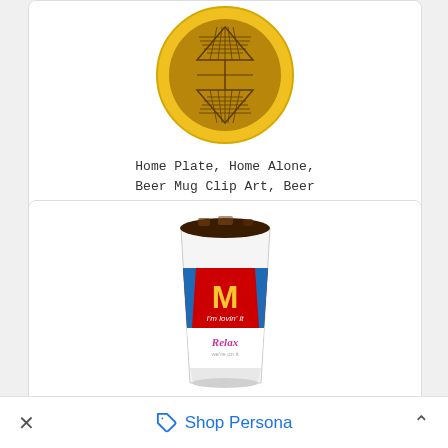[Figure (illustration): Gold medal with a hourglass/trophy shape pattern in dark engraving on brownish-gold background, surrounded by yellow-gold circular border]
Home Plate, Home Alone, Beer Mug Clip Art, Beer Can icon
[Figure (photo): McDonald's large drink cup with red McDonald's logo label showing golden arches and 'I'm lovin' it', with 'Relax' text visible below, filled with dark beverage (appears to be cola/soda) with ice]
Beer Bottle Vector, Beer Can, Beer Mug, Beer icon
✕   🏷 Shop Persona   ˄